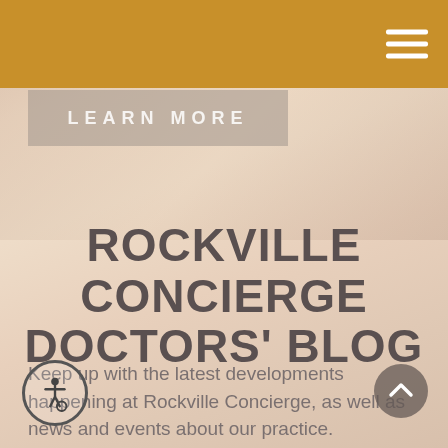LEARN MORE
ROCKVILLE CONCIERGE DOCTORS' BLOG
Keep up with the latest developments happening at Rockville Concierge, as well as news and events about our practice.